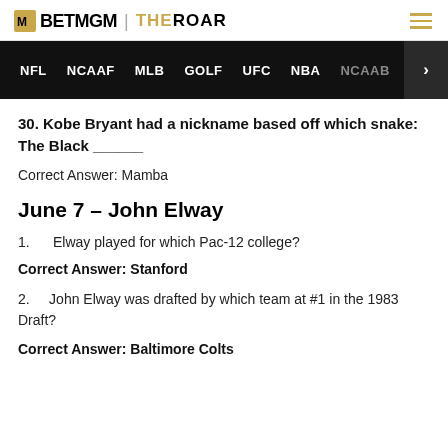BETMGM | THE ROAR
NFL  NCAAF  MLB  GOLF  UFC  NBA  NCAAB  >
30. Kobe Bryant had a nickname based off which snake: The Black ______
Correct Answer: Mamba
June 7 – John Elway
1.    Elway played for which Pac-12 college?
Correct Answer: Stanford
2.    John Elway was drafted by which team at #1 in the 1983 Draft?
Correct Answer: Baltimore Colts